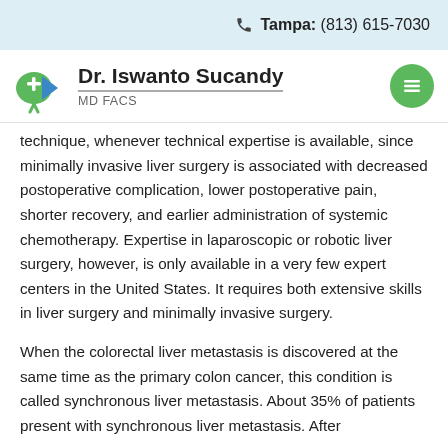Tampa: (813) 615-7030
[Figure (logo): Dr. Iswanto Sucandy MD FACS logo with green liver icon and doctor name]
technique, whenever technical expertise is available, since minimally invasive liver surgery is associated with decreased postoperative complication, lower postoperative pain, shorter recovery, and earlier administration of systemic chemotherapy. Expertise in laparoscopic or robotic liver surgery, however, is only available in a very few expert centers in the United States. It requires both extensive skills in liver surgery and minimally invasive surgery.
When the colorectal liver metastasis is discovered at the same time as the primary colon cancer, this condition is called synchronous liver metastasis. About 35% of patients present with synchronous liver metastasis. After...